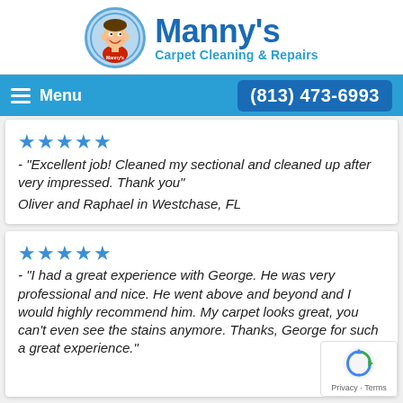[Figure (logo): Manny's Carpet Cleaning & Repairs logo with cartoon character in circular badge]
Menu   (813) 473-6993
★★★★★ - "Excellent job! Cleaned my sectional and cleaned up after very impressed. Thank you"
Oliver and Raphael in Westchase, FL
★★★★★ - "I had a great experience with George. He was very professional and nice. He went above and beyond and I would highly recommend him. My carpet looks great, you can't even see the stains anymore. Thanks, George for such a great experience."